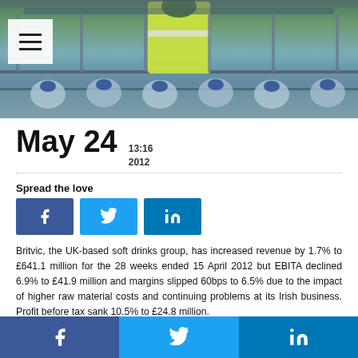[Figure (photo): Industrial bottling/production line with a worker in a high-visibility yellow jacket, blue bottle caps on conveyor belt machinery]
May 24  13:16  2012
Spread the love
[Figure (infographic): Social media sharing buttons: Facebook, Twitter, LinkedIn]
Britvic, the UK-based soft drinks group, has increased revenue by 1.7% to £641.1 million for the 28 weeks ended 15 April 2012 but EBITA declined 6.9% to £41.9 million and margins slipped 60bps to 6.5% due to the impact of higher raw material costs and continuing problems at its Irish business. Profit before tax sank 10.5% to £24.8 million.
[Figure (infographic): Footer social media sharing buttons: Facebook, Twitter, LinkedIn]